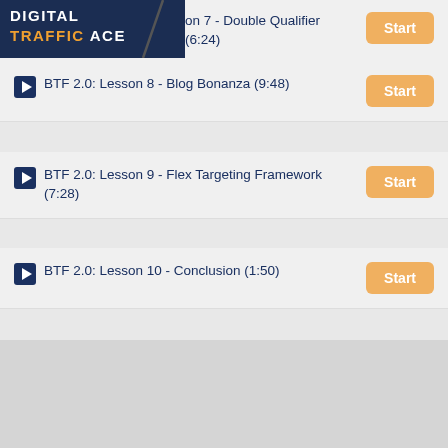[Figure (logo): Digital Traffic Ace logo — dark navy background with white DIGITAL text and orange TRAFFIC white ACE text with a diagonal slash graphic]
BTF 2.0: Lesson 7 - Double Qualifier (6:24)
BTF 2.0: Lesson 8 - Blog Bonanza (9:48)
BTF 2.0: Lesson 9 - Flex Targeting Framework (7:28)
BTF 2.0: Lesson 10 - Conclusion (1:50)